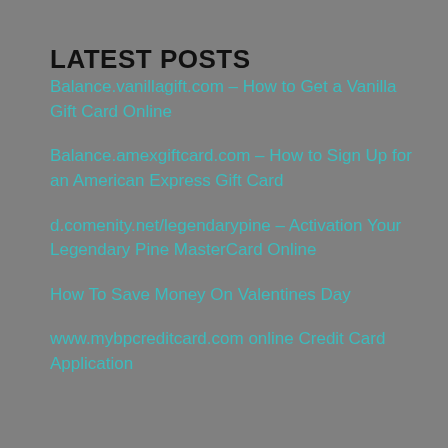LATEST POSTS
Balance.vanillagift.com – How to Get a Vanilla Gift Card Online
Balance.amexgiftcard.com – How to Sign Up for an American Express Gift Card
d.comenity.net/legendarypine – Activation Your Legendary Pine MasterCard Online
How To Save Money On Valentines Day
www.mybpcreditcard.com online Credit Card Application